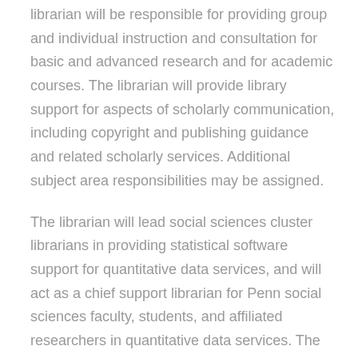librarian will be responsible for providing group and individual instruction and consultation for basic and advanced research and for academic courses. The librarian will provide library support for aspects of scholarly communication, including copyright and publishing guidance and related scholarly services. Additional subject area responsibilities may be assigned.
The librarian will lead social sciences cluster librarians in providing statistical software support for quantitative data services, and will act as a chief support librarian for Penn social sciences faculty, students, and affiliated researchers in quantitative data services. The librarian will administer and mediate access to licensed political science datasets. The Librarian will collaborate with colleagues across the Penn Libraries in developing and sustaining